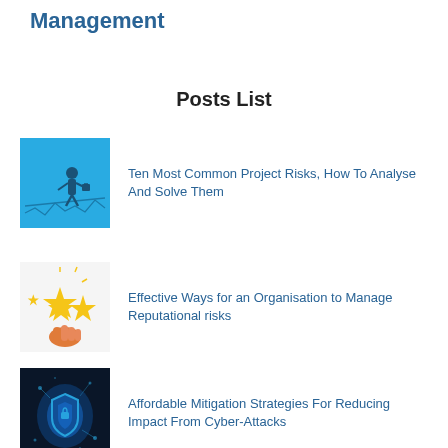Management
Posts List
Ten Most Common Project Risks, How To Analyse And Solve Them
Effective Ways for an Organisation to Manage Reputational risks
Affordable Mitigation Strategies For Reducing Impact From Cyber-Attacks